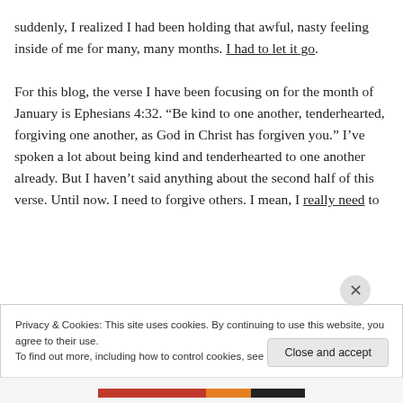suddenly, I realized I had been holding that awful, nasty feeling inside of me for many, many months. I had to let it go. For this blog, the verse I have been focusing on for the month of January is Ephesians 4:32. “Be kind to one another, tenderhearted, forgiving one another, as God in Christ has forgiven you.” I’ve spoken a lot about being kind and tenderhearted to one another already. But I haven’t said anything about the second half of this verse. Until now. I need to forgive others. I mean, I really need to
Privacy & Cookies: This site uses cookies. By continuing to use this website, you agree to their use. To find out more, including how to control cookies, see here: Cookie Policy